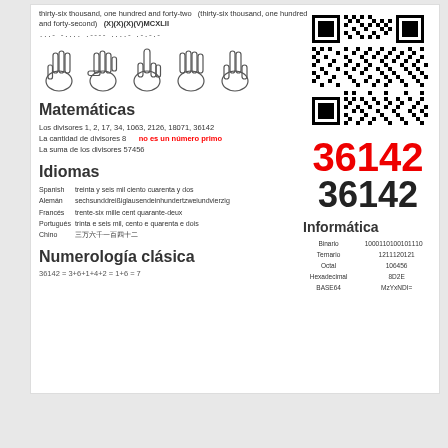thirty-six thousand, one hundred and forty-two  (thirty-six thousand, one hundred and forty-second)  (X)(X)(X)(V)MCXLII
...- -.... .---- ....- .-.-.-
[Figure (illustration): Five hand sign illustrations showing finger counting for digits 3,6,1,4,2]
[Figure (other): QR code for number 36142]
36142
36142
Matemáticas
Los divisores 1, 2, 17, 34, 1063, 2126, 18071, 36142
La cantidad de divisores 8     no es un número primo
La suma de los divisores 57456
Idiomas
| Spanish | treinta y seis mil ciento cuarenta y dos |
| Alemán | sechsunddreißiglausendeinhundertzweiundvierzig |
| Francés | trente-six mille cent quarante-deux |
| Portugués | trinta e seis mil, cento e quarenta e dois |
| Chino | 三万六千一百四十二 |
Informática
| Binario | 1000110100101110 |
| Ternario | 1211120121 |
| Octal | 106456 |
| Hexadecimal | 8D2E |
| BASE64 | MzYxNDI= |
Numerología clásica